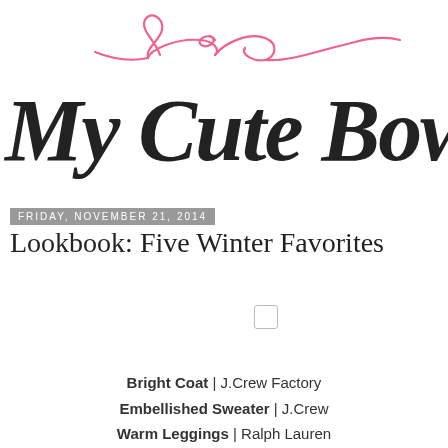[Figure (logo): My Cute Bow blog logo — handwritten-style black script text 'My Cute Bow' with pink decorative flourish/bow swirl above]
Friday, November 21, 2014
Lookbook: Five Winter Favorites
[Figure (other): Small Pinterest pin placeholder icon (empty square with rounded corners)]
Bright Coat | J.Crew Factory
Embellished Sweater | J.Crew
Warm Leggings | Ralph Lauren
Matching Scarf | Burberry